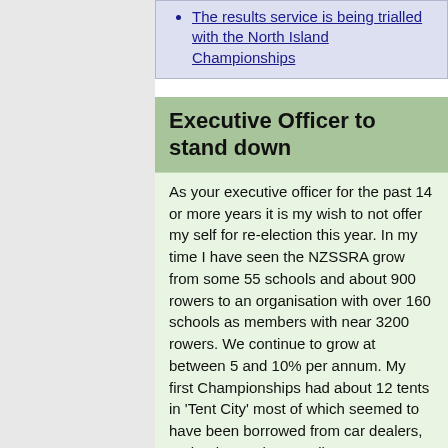The results service is being trialled with the North Island Championships
Executive Officer to stand down
As your executive officer for the past 14 or more years it is my wish to not offer my self for re-election this year. In my time I have seen the NZSSRA grow from some 55 schools and about 900 rowers to an organisation with over 160 schools as members with near 3200 rowers. We continue to grow at between 5 and 10% per annum. My first Championships had about 12 tents in 'Tent City' most of which seemed to have been borrowed from car dealers, and today we have well over 100 at Karapiro in two tiers and most purpose made school tents. Then the regatta took 3 days to complete! When I started 90% of correspondence was by mail with the balance being by the newly arrived 'Fax' machine. Today 99% is by Email. At the meeting I took office